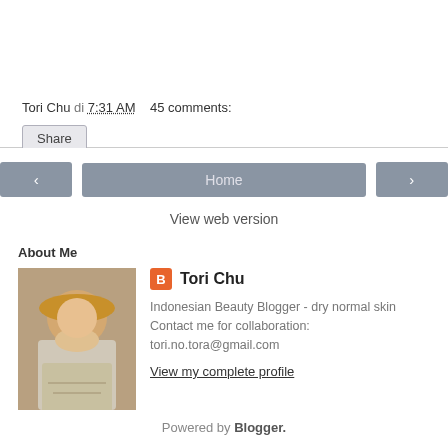Tori Chu di 7:31 AM   45 comments:
Share
< Home >
View web version
About Me
[Figure (photo): Profile photo of a young woman wearing a yellow hat, light-colored clothing, outdoors]
Tori Chu
Indonesian Beauty Blogger - dry normal skin Contact me for collaboration: tori.no.tora@gmail.com
View my complete profile
Powered by Blogger.